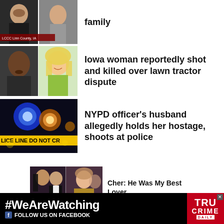[Figure (photo): Two mugshot photos side by side with LCCC Linn County text overlay]
family
[Figure (photo): Mugshot of a man on left, smiling blonde woman on right]
Iowa woman reportedly shot and killed over lawn tractor dispute
[Figure (photo): Police car lights at night with yellow police line tape reading LICE LINE DO NOT CR]
NYPD officer's husband allegedly holds her hostage, shoots at police
[Figure (photo): Sponsored ad image with two photos of Cher and other people at events]
Cher: He Was My Best Lover
[Figure (infographic): #WeAreWatching FOLLOW US ON FACEBOOK - True Crime Daily banner ad]